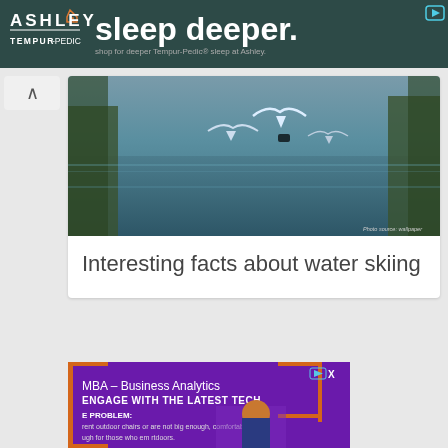[Figure (photo): Ashley Furniture / Tempur-Pedic advertisement banner with dark teal background. Large text reads 'sleep deeper.' with Ashley logo and Tempur-Pedic branding. Tagline: 'shop for deeper Tempur-Pedic® sleep at Ashley.']
[Figure (photo): Photo of birds (seagulls) flying over a calm reflective lake or river with trees in background. Photo credit: 'Photo source: wallpaper...']
Interesting facts about water skiing
[Figure (photo): MBA Business Analytics advertisement with purple background. Text reads 'MBA – Business Analytics', 'ENGAGE WITH THE LATEST TECH', partial text about outdoor chairs and outdoors. Orange bracket decorative elements. Man with curly hair visible.]